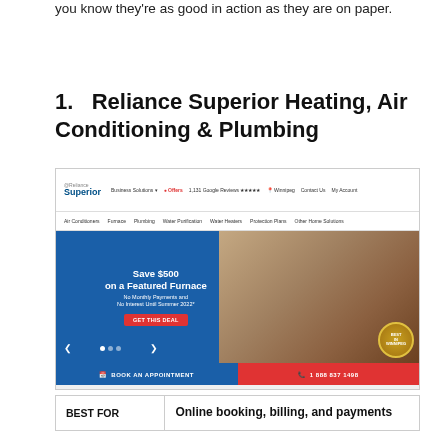you know they're as good in action as they are on paper.
1.   Reliance Superior Heating, Air Conditioning & Plumbing
[Figure (screenshot): Screenshot of the Reliance Superior HVAC website showing navigation bar, hero banner with 'Save $500 on a Featured Furnace' promotion, booking and phone call bottom bar]
| BEST FOR | Value |
| --- | --- |
| BEST FOR | Online booking, billing, and payments |
|  | ... |